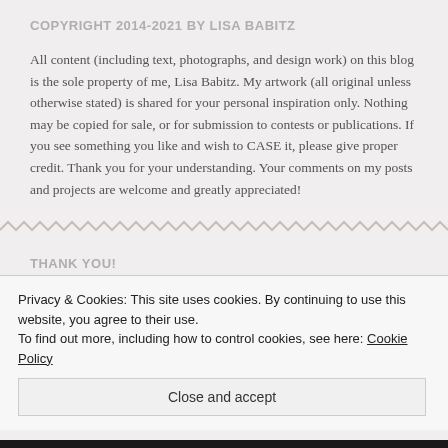COPYRIGHT 2014-2021 BY LISA BABITZ
All content (including text, photographs, and design work) on this blog is the sole property of me, Lisa Babitz. My artwork (all original unless otherwise stated) is shared for your personal inspiration only. Nothing may be copied for sale, or for submission to contests or publications. If you see something you like and wish to CASE it, please give proper credit. Thank you for your understanding. Your comments on my posts and projects are welcome and greatly appreciated!
THANK YOU!
Privacy & Cookies: This site uses cookies. By continuing to use this website, you agree to their use.
To find out more, including how to control cookies, see here: Cookie Policy
Close and accept